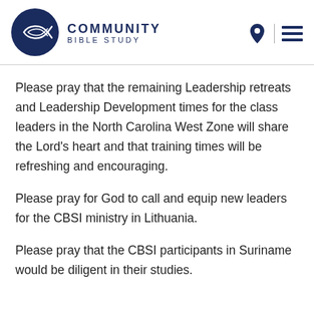[Figure (logo): Community Bible Study logo with navy circle containing a fish symbol, and text 'COMMUNITY BIBLE STUDY' to the right]
Please pray that the remaining Leadership retreats and Leadership Development times for the class leaders in the North Carolina West Zone will share the Lord's heart and that training times will be refreshing and encouraging.
Please pray for God to call and equip new leaders for the CBSI ministry in Lithuania.
Please pray that the CBSI participants in Suriname would be diligent in their studies.